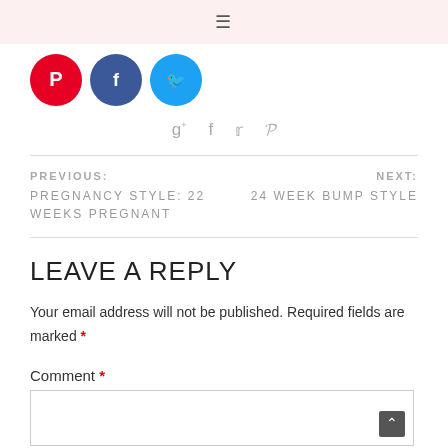≡
[Figure (illustration): Three social media circular icon buttons: Pinterest (red, P logo), Facebook (blue, f logo), Twitter (light blue, bird logo)]
[Figure (illustration): Social share icons row: Google+, Facebook, Twitter, Pinterest in grey]
PREVIOUS: PREGNANCY STYLE: 22 WEEKS PREGNANT
NEXT: 24 WEEK BUMP STYLE
LEAVE A REPLY
Your email address will not be published. Required fields are marked *
Comment *